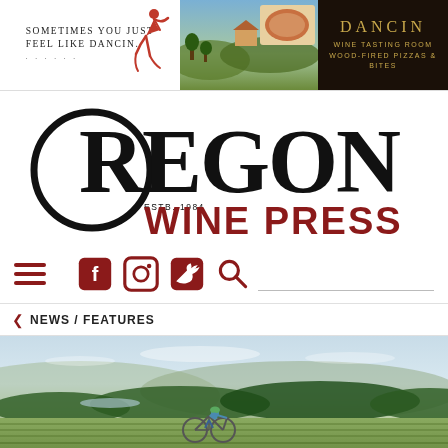[Figure (illustration): Banner advertisement for DANCIN Winery. Left section: white background with text 'Sometimes you just feel like Dancin.' and a red dancer silhouette. Middle section: outdoor scenic photo of vineyard/landscape with food. Right section: dark brown background with gold text 'DANCIN' and 'WINE TASTING ROOM / WOOD-FIRED PIZZAS & BITES'.]
[Figure (logo): Oregon Wine Press logo. Large black circle with 'OREGON' in bold black letters across, 'ESTB. 1984' below the O, and 'WINE PRESS' in dark red below.]
[Figure (screenshot): Navigation bar with dark red hamburger menu icon on left, followed by Facebook, Instagram, Twitter, and Search icons in dark red, with a horizontal search line.]
< NEWS / FEATURES
[Figure (photo): Outdoor landscape photo showing a cyclist in a vineyard with rolling hills, forest, and a pale blue sky in the background. Oregon wine country scenery.]